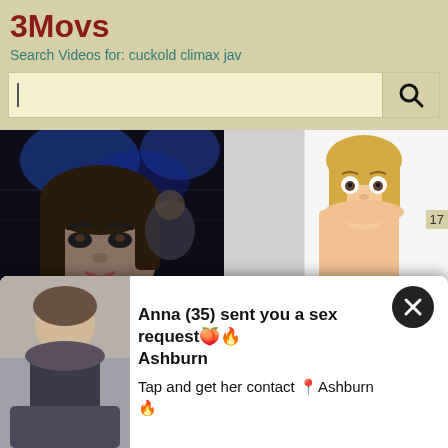3Movs
Search Videos for: cuckold climax jav
[Figure (screenshot): Search bar with text input field and magnifying glass search button on khaki/tan background]
[Figure (photo): Two thumbnail images side by side: left shows an Asian woman's face close-up in dark nightclub setting; right shows a blonde woman in white room setting]
[Figure (photo): Notification popup overlay showing a woman in black outfit thumbnail on left, with text: Anna (35) sent you a sex request Ashburn / Tap and get her contact Ashburn, and an X close button]
Anna (35) sent you a sex request🍑🔥 Ashburn
Tap and get her contact 📍Ashburn 🔥